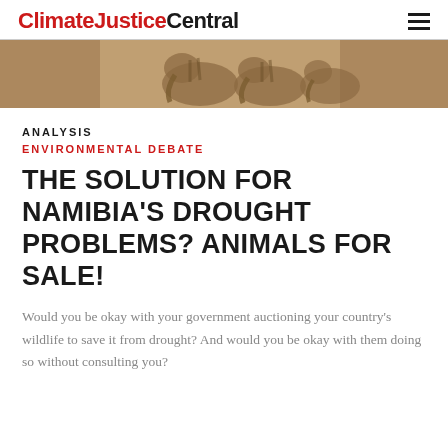ClimateJusticeCentral
[Figure (photo): Sepia-toned banner image of elephants, showing trunks and bodies in a sandy/warm-colored palette]
ANALYSIS
ENVIRONMENTAL DEBATE
THE SOLUTION FOR NAMIBIA'S DROUGHT PROBLEMS? ANIMALS FOR SALE!
Would you be okay with your government auctioning your country's wildlife to save it from drought? And would you be okay with them doing so without consulting you?